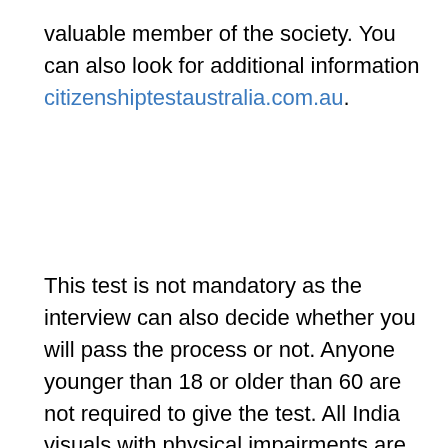valuable member of the society. You can also look for additional information citizenshiptestaustralia.com.au.
This test is not mandatory as the interview can also decide whether you will pass the process or not. Anyone younger than 18 or older than 60 are not required to give the test. All India visuals with physical impairments are also exempted from the test and only require the interview. There will be